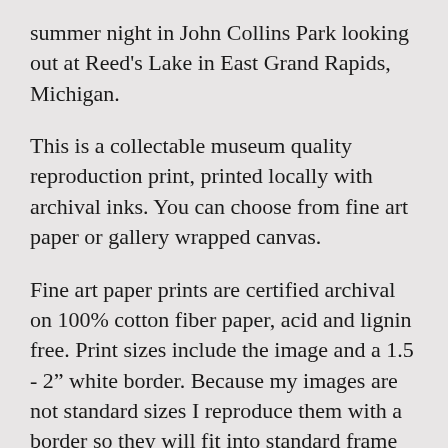summer night in John Collins Park looking out at Reed's Lake in East Grand Rapids, Michigan.
This is a collectable museum quality reproduction print, printed locally with archival inks. You can choose from fine art paper or gallery wrapped canvas.
Fine art paper prints are certified archival on 100% cotton fiber paper, acid and lignin free. Print sizes include the image and a 1.5 - 2” white border. Because my images are not standard sizes I reproduce them with a border so they will fit into standard frame sizes. If you are looking for a preferred image size that will fit into an existing frame with matting, please message me - I’m here to help